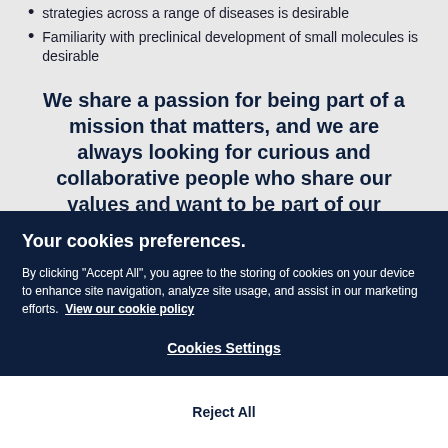strategies across a range of diseases is desirable
Familiarity with preclinical development of small molecules is desirable
We share a passion for being part of a mission that matters, and we are always looking for curious and collaborative people who share our values and want to be part of our
Your cookies preferences.
By clicking “Accept All”, you agree to the storing of cookies on your device to enhance site navigation, analyze site usage, and assist in our marketing efforts. View our cookie policy
Cookies Settings
Reject All